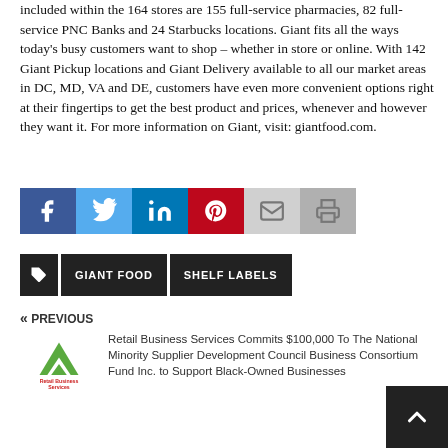included within the 164 stores are 155 full-service pharmacies, 82 full-service PNC Banks and 24 Starbucks locations. Giant fits all the ways today's busy customers want to shop – whether in store or online. With 142 Giant Pickup locations and Giant Delivery available to all our market areas in DC, MD, VA and DE, customers have even more convenient options right at their fingertips to get the best product and prices, whenever and however they want it. For more information on Giant, visit: giantfood.com.
[Figure (infographic): Social sharing buttons: Facebook (blue), Twitter (light blue), LinkedIn (dark blue), Pinterest (red), Email (light gray), Print (gray)]
[Figure (infographic): Tag buttons row: tag icon, GIANT FOOD, SHELF LABELS — all black background with white text]
« PREVIOUS
[Figure (logo): Retail Business Services logo — green mountain/arrow shape with 'Retail Business Services' text in red]
Retail Business Services Commits $100,000 To The National Minority Supplier Development Council Business Consortium Fund Inc. to Support Black-Owned Businesses